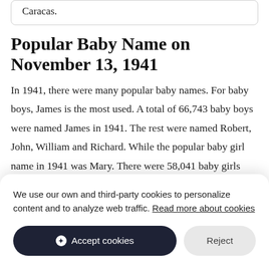Caracas.
Popular Baby Name on November 13, 1941
In 1941, there were many popular baby names. For baby boys, James is the most used. A total of 66,743 baby boys were named James in 1941. The rest were named Robert, John, William and Richard. While the popular baby girl name in 1941 was Mary. There were 58,041 baby girls
We use our own and third-party cookies to personalize content and to analyze web traffic. Read more about cookies
Accept cookies
Reject